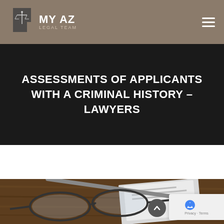MY AZ LEGAL TEAM
ASSESSMENTS OF APPLICANTS WITH A CRIMINAL HISTORY – LAWYERS
[Figure (photo): Close-up photo of eyeglasses, a pen, and papers on a wooden desk, suggesting legal document review]